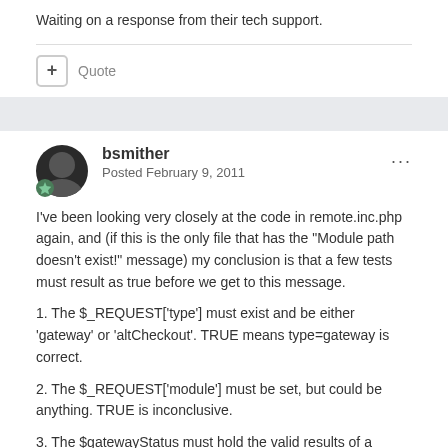Waiting on a response from their tech support.
Quote
bsmither
Posted February 9, 2011
I've been looking very closely at the code in remote.inc.php again, and (if this is the only file that has the "Module path doesn't exist!" message) my conclusion is that a few tests must result as true before we get to this message.
1. The $_REQUEST['type'] must exist and be either 'gateway' or 'altCheckout'. TRUE means type=gateway is correct.
2. The $_REQUEST['module'] must be set, but could be anything. TRUE is inconclusive.
3. The $gatewayStatus must hold the valid results of a query. That is, there must be a record in CubeCart_Modules where